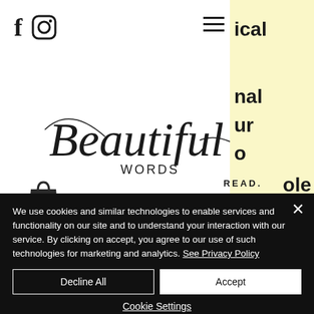[Figure (screenshot): Website header with Facebook and Instagram social icons, hamburger menu, yellow sidebar panel with partial text fragments (ical, nal, ur, o, ole), Beautiful Words logo in script font, READ. REFLECT. tagline, and shopping bag icon]
We use cookies and similar technologies to enable services and functionality on our site and to understand your interaction with our service. By clicking on accept, you agree to our use of such technologies for marketing and analytics. See Privacy Policy
Decline All
Accept
Cookie Settings